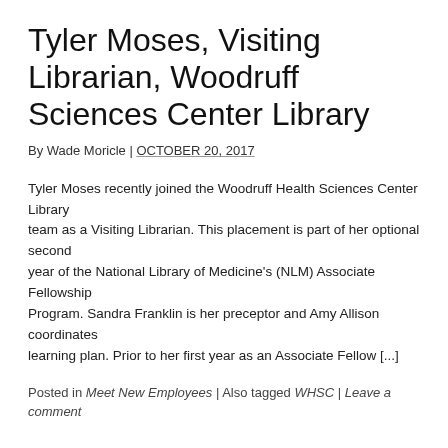Tyler Moses, Visiting Librarian, Woodruff Health Sciences Center Library
By Wade Moricle | OCTOBER 20, 2017
Tyler Moses recently joined the Woodruff Health Sciences Center Library team as a Visiting Librarian. This placement is part of her optional second year of the National Library of Medicine's (NLM) Associate Fellowship Program. Sandra Franklin is her preceptor and Amy Allison coordinates her learning plan. Prior to her first year as an Associate Fellow [...]
Posted in Meet New Employees | Also tagged WHSC | Leave a comment
Sharon Leslie, Nursing Informationist, Health Sciences Center Library